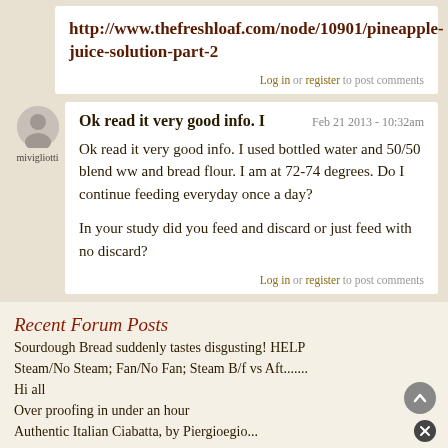http://www.thefreshloaf.com/node/10901/pineapple-juice-solution-part-2
Log in or register to post comments
Ok read it very good info. I
Feb 21 2013 - 10:32am
mivigliotti
Ok read it very good info. I used bottled water and 50/50 blend ww and bread flour. I am at 72-74 degrees. Do I continue feeding everyday once a day?

In your study did you feed and discard or just feed with no discard?
Log in or register to post comments
Recent Forum Posts
Sourdough Bread suddenly tastes disgusting! HELP
Steam/No Steam; Fan/No Fan; Steam B/f vs Aft.......
Hi all
Over proofing in under an hour
Authentic Italian Ciabatta, by Piergioegio...